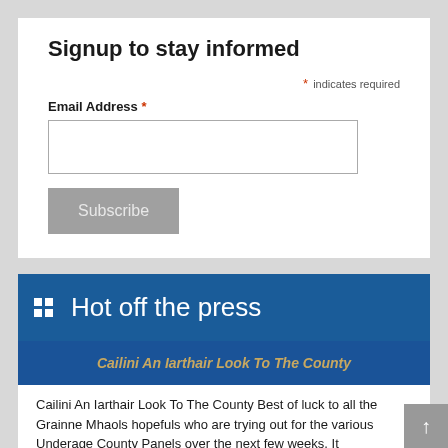Signup to stay informed
* indicates required
Email Address *
[Figure (screenshot): Empty email address input field]
[Figure (screenshot): Subscribe button in grey]
Hot off the press
Cailini An Iarthair Look To The County
Cailini An Iarthair Look To The County Best of luck to all the Grainne Mhaols hopefuls who are trying out for the various Underage County Panels over the next few weeks. It